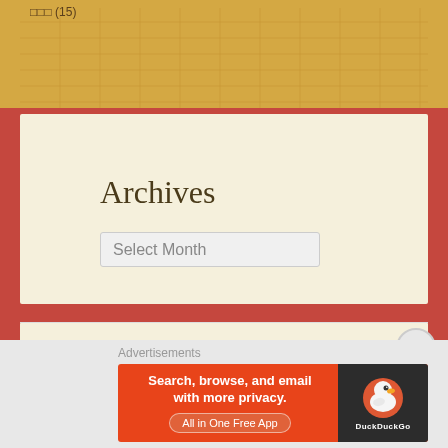[Figure (other): Top section with tan/golden grid background and text label showing partial content (appears to be a category list item)]
Archives
Select Month
Toys
Advertisements
[Figure (other): DuckDuckGo advertisement banner: Search, browse, and email with more privacy. All in One Free App]